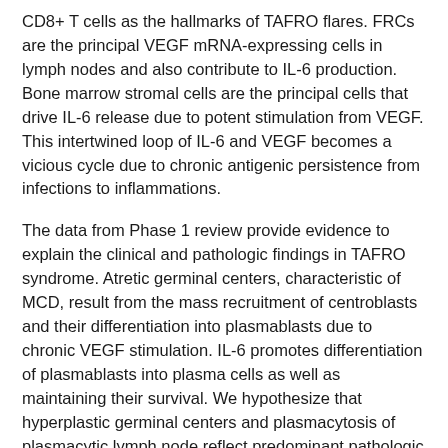CD8+ T cells as the hallmarks of TAFRO flares. FRCs are the principal VEGF mRNA-expressing cells in lymph nodes and also contribute to IL-6 production. Bone marrow stromal cells are the principal cells that drive IL-6 release due to potent stimulation from VEGF. This intertwined loop of IL-6 and VEGF becomes a vicious cycle due to chronic antigenic persistence from infections to inflammations.
The data from Phase 1 review provide evidence to explain the clinical and pathologic findings in TAFRO syndrome. Atretic germinal centers, characteristic of MCD, result from the mass recruitment of centroblasts and their differentiation into plasmablasts due to chronic VEGF stimulation. IL-6 promotes differentiation of plasmablasts into plasma cells as well as maintaining their survival. We hypothesize that hyperplastic germinal centers and plasmacytosis of plasmacytic lymph node reflect predominant pathologic features during early stages of pathogenesis, while regressed germinal centers and